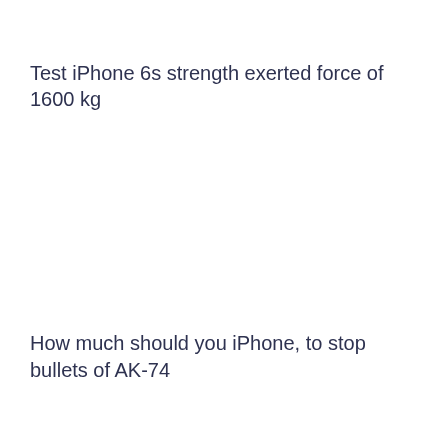Test iPhone 6s strength exerted force of 1600 kg
How much should you iPhone, to stop bullets of AK-74